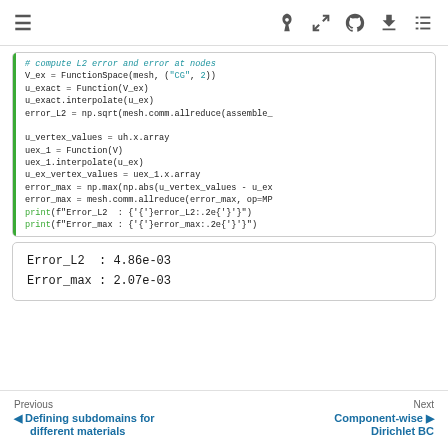≡  🚀  ⛶  ⌂  ⬇  ☰
[Figure (screenshot): Python code block showing FEniCSx code to compute L2 error and error at nodes, including FunctionSpace, Function, interpolate, np.sqrt, allreduce, assemble, u_vertex_values, uex_1, error_max calculations, and print statements for Error_L2 and Error_max]
Error_L2  : 4.86e-03
Error_max : 2.07e-03
Previous  Defining subdomains for different materials    Next  Component-wise Dirichlet BC